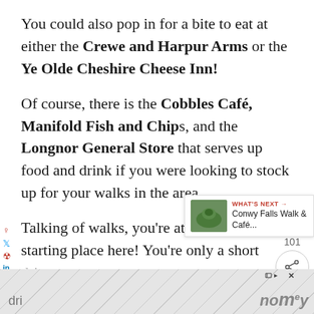You could also pop in for a bite to eat at either the Crewe and Harpur Arms or the Ye Olde Cheshire Cheese Inn!
Of course, there is the Cobbles Café, Manifold Fish and Chips, and the Longnor General Store that serves up food and drink if you were looking to stock up for your walks in the area.
Talking of walks, you're at the perfect starting place here! You're only a short dri...
[Figure (infographic): Social sharing sidebar with heart/like button (101 count), share button, and a 'What's Next' widget showing Conwy Falls Walk & Café...]
[Figure (infographic): Advertisement banner at the bottom of the page with a geometric pattern background, ad label, and partial text]